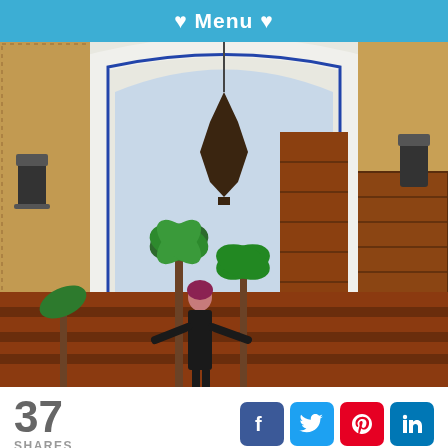♥ Menu ♥
[Figure (photo): A woman with purple hair in a black dress standing under a large ornate Moorish arch decorated with colorful mosaic tiles. Hanging lantern above, palm trees in background, wooden doors to the right.]
37
SHARES
[Figure (infographic): Social media share buttons: Facebook (blue), Twitter (light blue), Pinterest (red), LinkedIn (dark blue)]